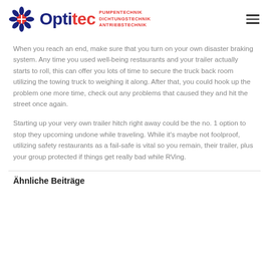Optitec PUMPENTECHNIK DICHTUNGSTECHNIK ANTRIEBSTECHNIK
When you reach an end, make sure that you turn on your own disaster braking system. Any time you used well-being restaurants and your trailer actually starts to roll, this can offer you lots of time to secure the truck back room utilizing the towing truck to weighing it along. After that, you could hook up the problem one more time, check out any problems that caused they and hit the street once again.
Starting up your very own trailer hitch right away could be the no. 1 option to stop they upcoming undone while traveling. While it’s maybe not foolproof, utilizing safety restaurants as a fail-safe is vital so you remain, their trailer, plus your group protected if things get really bad while RVing.
Ähnliche Beiträge